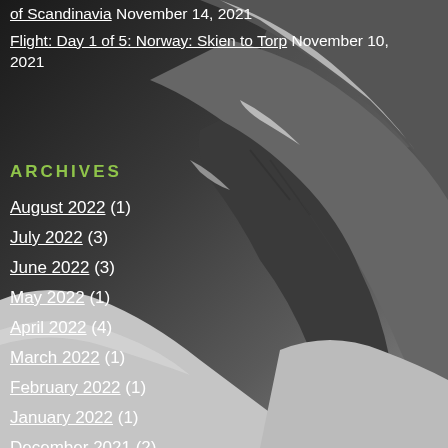[Figure (photo): Black and white aerial or high-altitude photograph of a snow-covered mountain ridge with dramatic rocky terrain, taken from above. The mountain fills the right and lower portions of the image against a grey sky.]
of Scandinavia November 14, 2021
Flight: Day 1 of 5: Norway: Skien to Torp November 10, 2021
ARCHIVES
August 2022 (1)
July 2022 (3)
June 2022 (3)
May 2022 (1)
April 2022 (4)
March 2022 (1)
February 2022 (1)
January 2022 (1)
December 2021 (2)